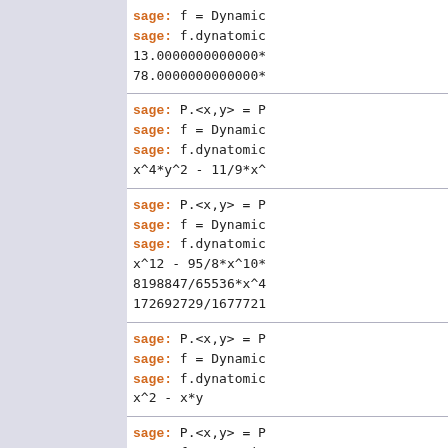sage: f = Dynamic...
sage: f.dynatomic...
13.0000000000000*...
78.0000000000000*...
sage: P.<x,y> = P...
sage: f = Dynamic...
sage: f.dynatomic...
x^4*y^2 - 11/9*x^...
sage: P.<x,y> = P...
sage: f = Dynamic...
sage: f.dynatomic...
x^12 - 95/8*x^10*...
8198847/65536*x^4...
172692729/1677721...
sage: P.<x,y> = P...
sage: f = Dynamic...
sage: f.dynatomic...
x^2 - x*y
sage: P.<x,y> = P...
sage: f = Dynamic...
sage: f.dynatomic...
True